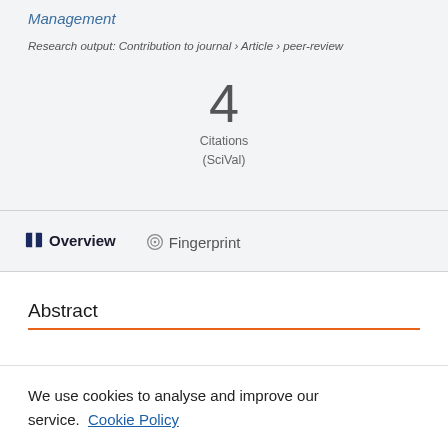Management
Research output: Contribution to journal › Article › peer-review
4 Citations (SciVal)
Overview
Fingerprint
Abstract
We use cookies to analyse and improve our service. Cookie Policy